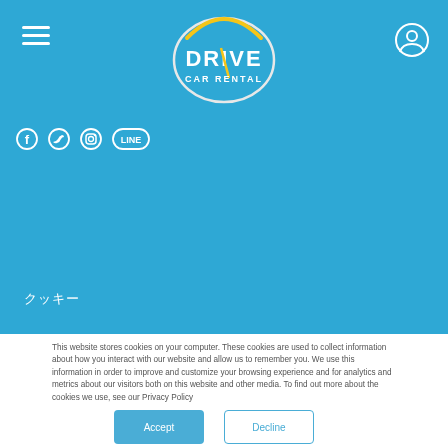[Figure (logo): Drive Car Rental logo – white text with yellow arc on blue background]
[Figure (infographic): Social media icons: Facebook, Twitter, Instagram, Line on blue bar]
クッキー
This website stores cookies on your computer. These cookies are used to collect information about how you interact with our website and allow us to remember you. We use this information in order to improve and customize your browsing experience and for analytics and metrics about our visitors both on this website and other media. To find out more about the cookies we use, see our Privacy Policy
If you decline, your information won't be tracked when you visit this website. A single cookie will be used in your browser to remember your preference not to be tracked.
Accept
Decline